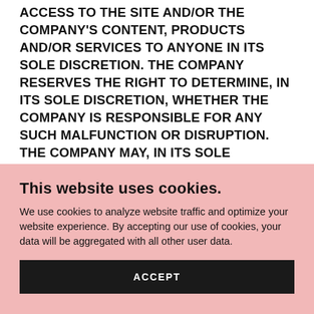ACCESS TO THE SITE AND/OR THE COMPANY'S CONTENT, PRODUCTS AND/OR SERVICES TO ANYONE IN ITS SOLE DISCRETION. THE COMPANY RESERVES THE RIGHT TO DETERMINE, IN ITS SOLE DISCRETION, WHETHER THE COMPANY IS RESPONSIBLE FOR ANY SUCH MALFUNCTION OR DISRUPTION. THE COMPANY MAY, IN ITS SOLE DISCRETION, REFUND THE INITIAL FEE CHARGED FOR ANY USE OF THE
This website uses cookies.
We use cookies to analyze website traffic and optimize your website experience. By accepting our use of cookies, your data will be aggregated with all other user data.
ACCEPT